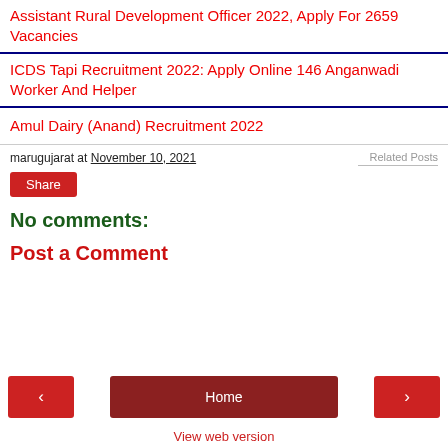Assistant Rural Development Officer 2022, Apply For 2659 Vacancies
ICDS Tapi Recruitment 2022: Apply Online 146 Anganwadi Worker And Helper
Amul Dairy (Anand) Recruitment 2022
marugujarat at November 10, 2021
Related Posts
Share
No comments:
Post a Comment
< Home > View web version